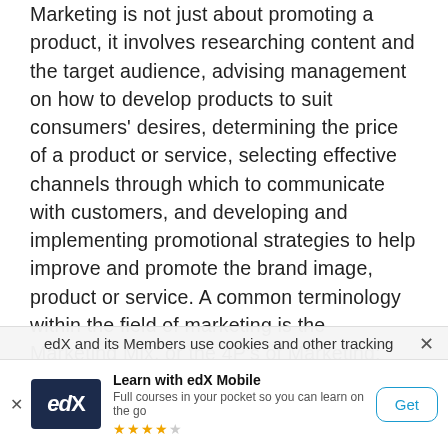Marketing is not just about promoting a product, it involves researching content and the target audience, advising management on how to develop products to suit consumers' desires, determining the price of a product or service, selecting effective channels through which to communicate with customers, and developing and implementing promotional strategies to help improve and promote the brand image, product or service. A common terminology within the field of marketing is the Marketing Mix, or the 4P's of Marketing: Product. Price. Promotion. and Place.
edX and its Members use cookies and other tracking
[Figure (screenshot): edX mobile app advertisement banner with edX logo, 'Learn with edX Mobile' title, subtitle 'Full courses in your pocket so you can learn on the go', star rating (4.5 stars), and a 'Get' button]